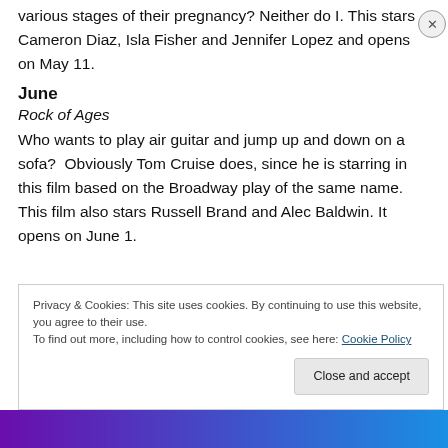various stages of their pregnancy? Neither do I. This stars Cameron Diaz, Isla Fisher and Jennifer Lopez and opens on May 11.
June
Rock of Ages
Who wants to play air guitar and jump up and down on a sofa? Obviously Tom Cruise does, since he is starring in this film based on the Broadway play of the same name. This film also stars Russell Brand and Alec Baldwin. It opens on June 1.
Privacy & Cookies: This site uses cookies. By continuing to use this website, you agree to their use.
To find out more, including how to control cookies, see here: Cookie Policy